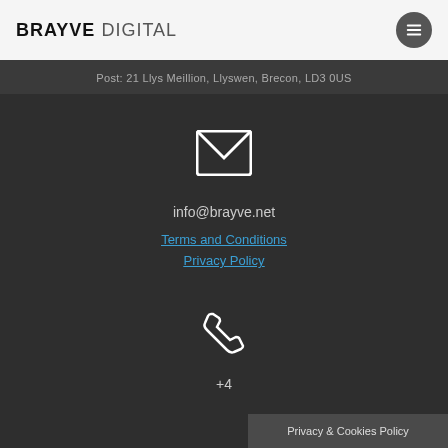BRAYVE DIGITAL
Post: 21 Llys Meillion, Llyswen, Brecon, LD3 0US
[Figure (illustration): White envelope/email icon]
info@brayve.net
Terms and Conditions
Privacy Policy
[Figure (illustration): White phone/telephone icon]
+4
Privacy & Cookies Policy